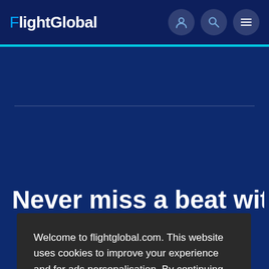FlightGlobal
Never miss a beat with
Welcome to flightglobal.com. This website uses cookies to improve your experience and for ads personalisation. By continuing to browse this site you are agreeing to our use of these cookies. You can learn more about the cookies we use here.
OK